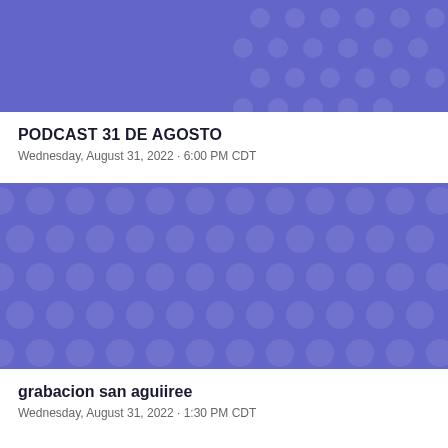[Figure (illustration): Purple/violet banner with a polka dot pattern, lighter purple circles on darker purple background.]
PODCAST 31 DE AGOSTO
Wednesday, August 31, 2022 · 6:00 PM CDT
[Figure (illustration): Large purple/violet banner with a polka dot pattern, lighter purple circles on darker purple background.]
grabacion san aguiiree
Wednesday, August 31, 2022 · 1:30 PM CDT